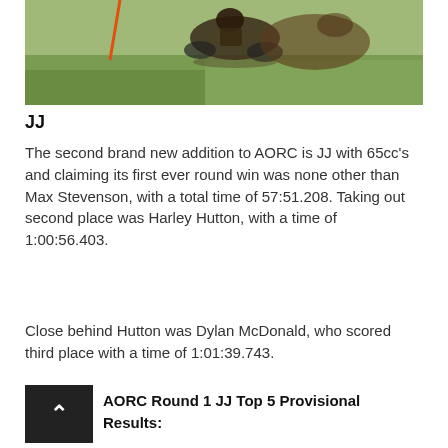[Figure (photo): A motocross rider on a dirt bike with an orange flag in the background on a grassy field.]
JJ
The second brand new addition to AORC is JJ with 65cc's and claiming its first ever round win was none other than Max Stevenson, with a total time of 57:51.208. Taking out second place was Harley Hutton, with a time of 1:00:56.403.
Close behind Hutton was Dylan McDonald, who scored third place with a time of 1:01:39.743.
AORC Round 1 JJ Top 5 Provisional Results: